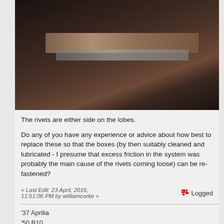[Figure (photo): Close-up dark photograph showing metal parts with rivets and lobes, dark brown and gray tones]
The rivets are either side on the lobes.
Do any of you have any experience or advice about how best to replace these so that the boxes (by then suitably cleaned and lubricated - I presume that excess friction in the system was probably the main cause of the rivets coming loose) can be re-fastened?
« Last Edit: 23 April, 2016, 11:51:06 PM by williamcorke »  Logged
'37 Aprilia
'50 B10
'53 B20